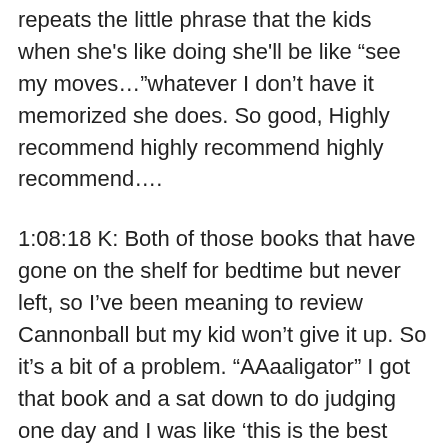repeats the little phrase that the kids when she's like doing she'll be like “see my moves…”whatever I don't have it memorized she does. So good, Highly recommend highly recommend highly recommend….
1:08:18 K: Both of those books that have gone on the shelf for bedtime but never left, so I've been meaning to review Cannonball but my kid won't give it up. So it's a bit of a problem. “AAaaligator” I got that book and a sat down to do judging one day and I was like ‘this is the best book!’ So good, so I absolutely love that one and it's like a big tall skinny book and the other one that's a tall skinny book that we also sat down for the first time and read it in the spring is “Going Up” which I absolutely adore and we read it all of the time it is one of our more frequent bedtime reads which is about a girl who lives in an apartment building and they're going up